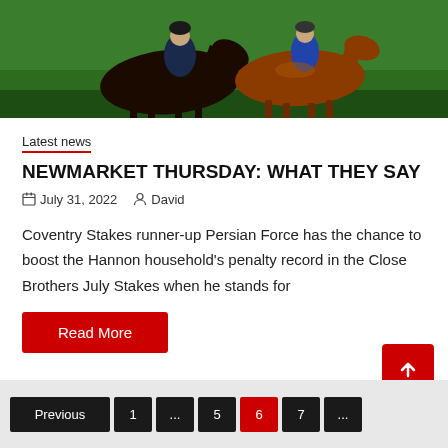[Figure (photo): Horse racing photo showing two racehorses with jockeys racing on a green grass track, close-up action shot]
Latest news
NEWMARKET THURSDAY: WHAT THEY SAY
July 31, 2022   David
Coventry Stakes runner-up Persian Force has the chance to boost the Hannon household's penalty record in the Close Brothers July Stakes when he stands for
Read More
Previous 1 ... 5 6 7 ...